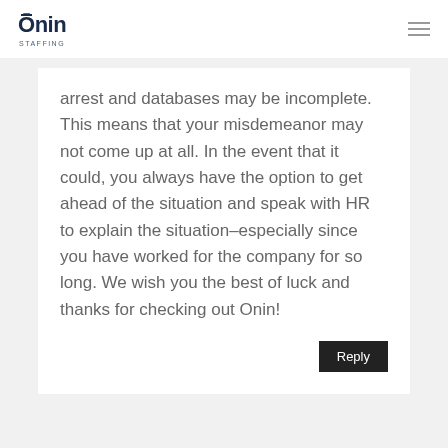Onin Staffing
arrest and databases may be incomplete. This means that your misdemeanor may not come up at all. In the event that it could, you always have the option to get ahead of the situation and speak with HR to explain the situation–especially since you have worked for the company for so long. We wish you the best of luck and thanks for checking out Onin!